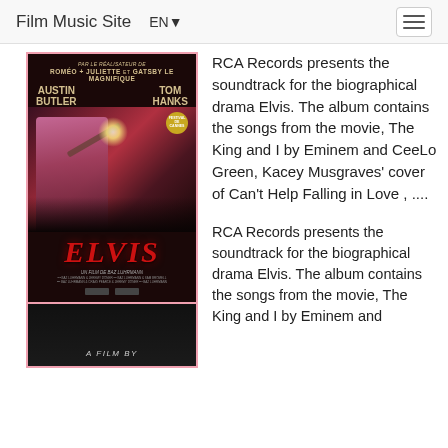Film Music Site    EN▼
[Figure (photo): Elvis (2022) movie poster featuring Austin Butler and Tom Hanks, directed by Baz Luhrmann. Shows performer in pink jacket playing guitar leaning toward crowd, with ELVIS title in red.]
RCA Records presents the soundtrack for the biographical drama Elvis. The album contains the songs from the movie, The King and I by Eminem and CeeLo Green, Kacey Musgraves' cover of Can't Help Falling in Love , ....
[Figure (photo): Partial view of a second Elvis-related movie or album image, dark background, bottom of page.]
RCA Records presents the soundtrack for the biographical drama Elvis. The album contains the songs from the movie, The King and I by Eminem and